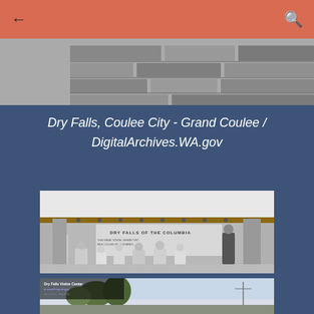← [back] [search]
[Figure (photo): Black and white close-up of a stone wall with horizontal rows of cut stone blocks]
Dry Falls, Coulee City - Grand Coulee / DigitalArchives.WA.gov
[Figure (photo): Black and white photograph of a group of people sitting and standing in front of a stone building with a sign reading 'DRY FALLS OF THE COLUMBIA']
[Figure (photo): Thumbnail photograph showing Dry Falls Visitor Center with trees and sky in background]